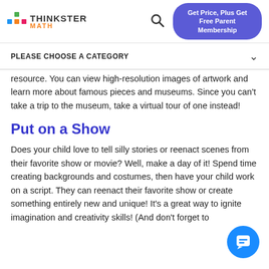Thinkster Math — Get Price, Plus Get Free Parent Membership
PLEASE CHOOSE A CATEGORY
resource. You can view high-resolution images of artwork and learn more about famous pieces and museums. Since you can't take a trip to the museum, take a virtual tour of one instead!
Put on a Show
Does your child love to tell silly stories or reenact scenes from their favorite show or movie? Well, make a day of it! Spend time creating backgrounds and costumes, then have your child work on a script. They can reenact their favorite show or create something entirely new and unique! It's a great way to ignite imagination and creativity skills! (And don't forget to edit to tape and share and film it too!)